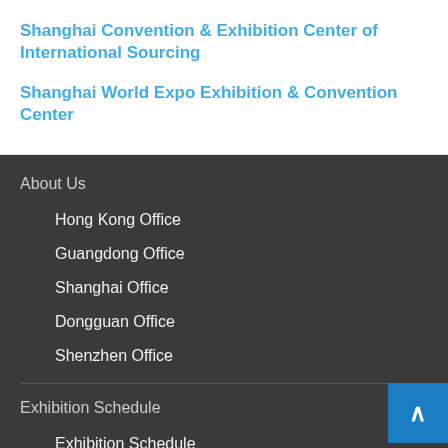Shanghai Convention & Exhibition Center of International Sourcing
Shanghai World Expo Exhibition & Convention Center
About Us
Hong Kong Office
Guangdong Office
Shanghai Office
Dongguan Office
Shenzhen Office
Exhibition Schedule
Exhibition Schedule
Recent Exhibition